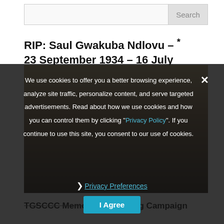Search
RIP: Saul Gwakuba Ndlovu – * 23 September 1934 – 16 July 2021
[Figure (photo): Black and white photograph partially visible behind dark overlay, showing a person]
We use cookies to offer you a better browsing experience, analyze site traffic, personalize content, and serve targeted advertisements. Read about how we use cookies and how you can control them by clicking "Privacy Policy". If you continue to use this site, you consent to our use of cookies.
❯ Privacy Preferences
I Agree
TGSCCC Memorial Fundraining Campaign